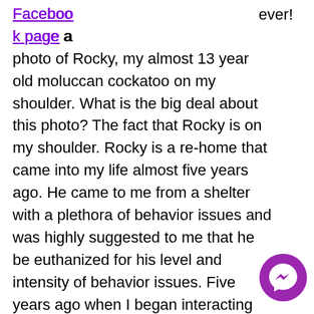Facebook page a photo of Rocky, my almost 13 year old moluccan cockatoo on my shoulder. What is the big deal about this photo? The fact that Rocky is on my shoulder. Rocky is a re-home that came into my life almost five years ago. He came to me from a shelter with a plethora of behavior issues and was highly suggested to me that he be euthanized for his level and intensity of behavior issues. Five years ago when I began interacting with him I was not able to get him out of his cage without a bite or obvious signs of aggression. Through consistent training and use
[Figure (logo): Facebook Messenger purple circular icon]